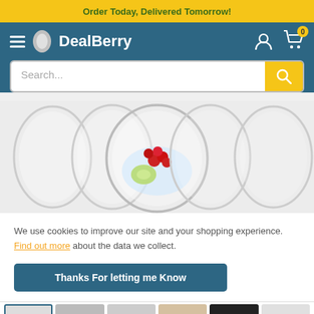Order Today, Delivered Tomorrow!
[Figure (screenshot): DealBerry e-commerce website header with hamburger menu, logo, user icon, cart icon with badge '0', and search bar with yellow search button]
[Figure (photo): Hero product image showing multiple clear stemless wine glasses, the central one filled with ice, red currants, and lime slices]
We use cookies to improve our site and your shopping experience. Find out more about the data we collect.
Thanks For letting me Know
[Figure (photo): Thumbnail strip showing five small product images at the bottom of the page]